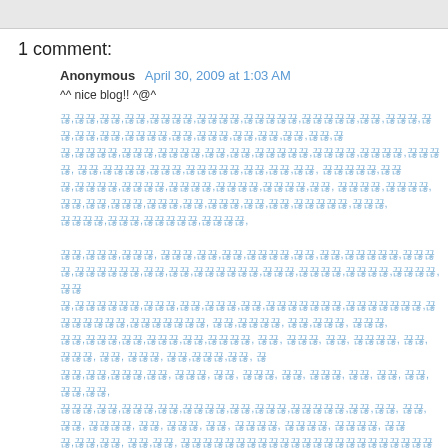1 comment:
Anonymous  April 30, 2009 at 1:03 AM
^^ nice blog!! ^@^
Korean/Chinese language text block (blog comment spam links)
Reply